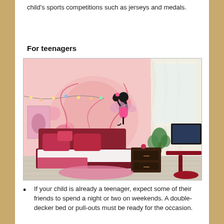child's sports competitions such as jerseys and medals.
For teenagers
[Figure (photo): A teenage girl's bedroom with a pink floral fairy mural on the wall, a red bed with pink bedding, string lights, a dark wood nightstand, a pink oval rug, and a red desk with a TV on the right side. Sheer white curtains cover a large window.]
If your child is already a teenager, expect some of their friends to spend a night or two on weekends. A double-decker bed or pull-outs must be ready for the occasion.